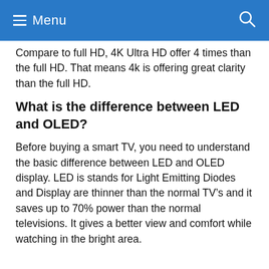Menu
Compare to full HD, 4K Ultra HD offer 4 times than the full HD. That means 4k is offering great clarity than the full HD.
What is the difference between LED and OLED?
Before buying a smart TV, you need to understand the basic difference between LED and OLED display. LED is stands for Light Emitting Diodes and Display are thinner than the normal TV’s and it saves up to 70% power than the normal televisions. It gives a better view and comfort while watching in the bright area.